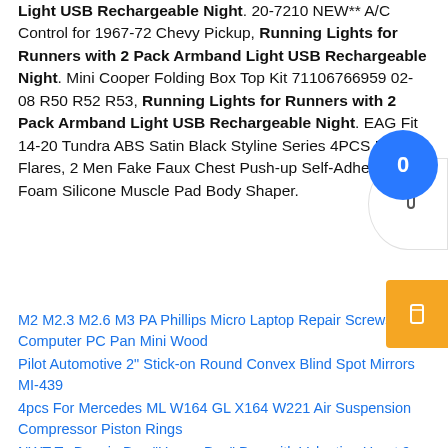Light USB Rechargeable Night. 20-7210 NEW** A/C Control for 1967-72 Chevy Pickup, Running Lights for Runners with 2 Pack Armband Light USB Rechargeable Night. Mini Cooper Folding Box Top Kit 71106766959 02-08 R50 R52 R53, Running Lights for Runners with 2 Pack Armband Light USB Rechargeable Night. EAG Fit 14-20 Tundra ABS Satin Black Styline Series 4PCS Fender Flares, 2 Men Fake Faux Chest Push-up Self-Adhesive Foam Silicone Muscle Pad Body Shaper.
M2 M2.3 M2.6 M3 PA Phillips Micro Laptop Repair Screws Computer PC Pan Mini Wood
Pilot Automotive 2" Stick-on Round Convex Blind Spot Mirrors MI-439
4pcs For Mercedes ML W164 GL X164 W221 Air Suspension Compressor Piston Rings
NWT Ty Beanie Boo "Honey Bun" Dog with Valentine Heart 9-inch Puppy Plush 2017
5 Piece You.S Aluminium Black Valve Sleeve Valve Cover For Car Vehicle Truck
Carbo Carbo Sport Carbo Moto Sportswear White/White 100% d...